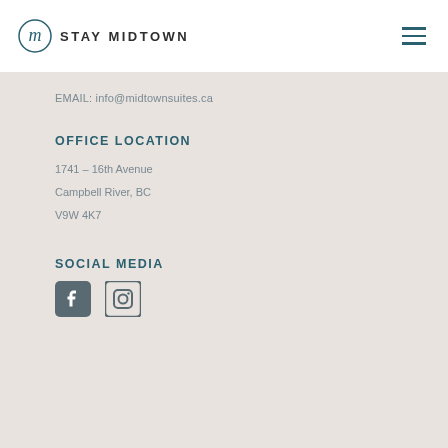[Figure (logo): Stay Midtown logo with stylized 'm' icon and text STAY MIDTOWN]
[Figure (other): Hamburger menu icon (three horizontal lines)]
EMAIL: info@midtownsuites.ca
OFFICE LOCATION
1741 – 16th Avenue
Campbell River, BC
V9W 4K7
SOCIAL MEDIA
[Figure (other): Facebook and Instagram social media icons]